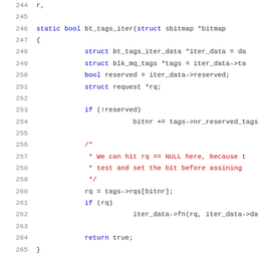[Figure (screenshot): Source code listing showing lines 244-265 of a C function bt_tags_iter dealing with block multiqueue tags iteration, with line numbers on the left and syntax-highlighted code on the right.]